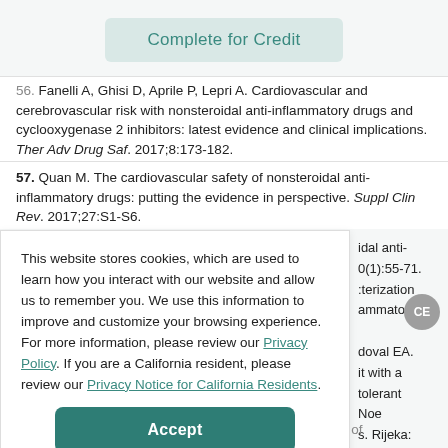Complete for Credit
56. Fanelli A, Ghisi D, Aprile P, Lepri A. Cardiovascular and cerebrovascular risk with nonsteroidal anti-inflammatory drugs and cyclooxygenase 2 inhibitors: latest evidence and clinical implications. Ther Adv Drug Saf. 2017;8:173-182.
57. Quan M. The cardiovascular safety of nonsteroidal anti-inflammatory drugs: putting the evidence in perspective. Suppl Clin Rev. 2017;27:S1-S6.
This website stores cookies, which are used to learn how you interact with our website and allow us to remember you. We use this information to improve and customize your browsing experience. For more information, please review our Privacy Policy. If you are a California resident, please review our Privacy Notice for California Residents.
61. De Petrocells L, Ligresti A, Morello AS, et al. Effects of ...